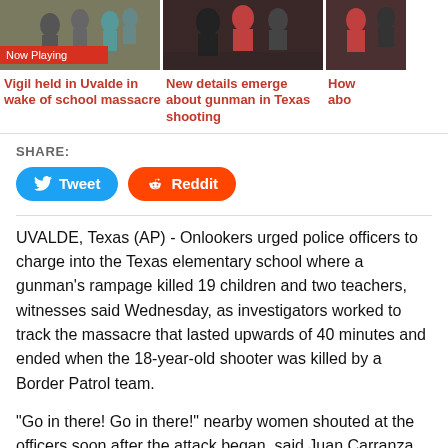[Figure (photo): Three video thumbnails: people at a vigil, people at a press conference, partial third thumbnail]
Vigil held in Uvalde in wake of school massacre
New details emerge about gunman in Texas shooting
How about (partial, cropped)
SHARE:
Tweet  Reddit
UVALDE, Texas (AP) - Onlookers urged police officers to charge into the Texas elementary school where a gunman's rampage killed 19 children and two teachers, witnesses said Wednesday, as investigators worked to track the massacre that lasted upwards of 40 minutes and ended when the 18-year-old shooter was killed by a Border Patrol team.
“Go in there! Go in there!” nearby women shouted at the officers soon after the attack began, said Juan Carranza, 24, who saw the scene from outside his house, across the street from Robb Elementary School in the town of Uvalde. Carranza said the officers did